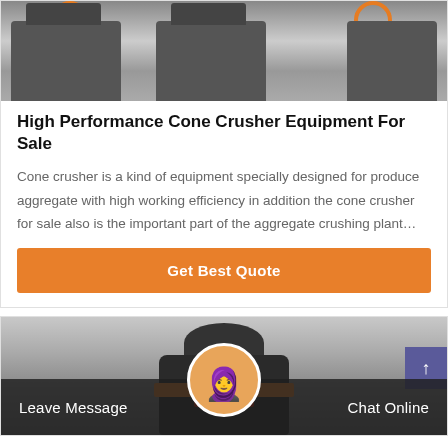[Figure (photo): Industrial cone crusher machines on a factory floor, with orange circular markings visible at the top of the machinery]
High Performance Cone Crusher Equipment For Sale
Cone crusher is a kind of equipment specially designed for produce aggregate with high working efficiency in addition the cone crusher for sale also is the important part of the aggregate crushing plant…
Get Best Quote
[Figure (photo): Industrial cone crusher equipment in a factory warehouse, with scroll-up button visible in top right corner]
Leave Message
Chat Online